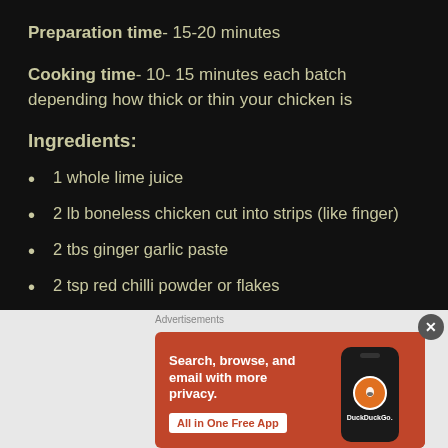Preparation time- 15-20 minutes
Cooking time- 10- 15 minutes each batch depending how thick or thin your chicken is
Ingredients:
1 whole lime juice
2 lb boneless chicken cut into strips (like finger)
2 tbs ginger garlic paste
2 tsp red chilli powder or flakes
[Figure (screenshot): DuckDuckGo advertisement banner with orange background, text 'Search, browse, and email with more privacy. All in One Free App' and a phone mockup with DuckDuckGo logo]
Advertisements